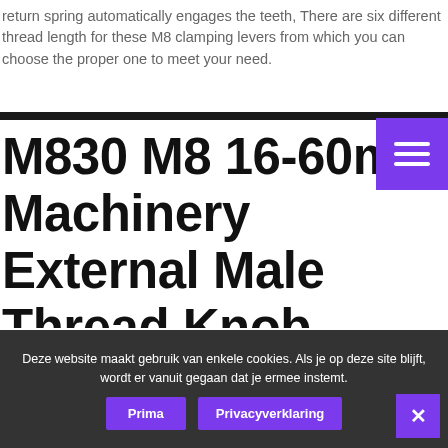return spring automatically engages the teeth, There are six different thread length for these M8 clamping levers from which you can choose the proper one to meet your need.
M830 M8 16-60mm Machinery External Male Thread Knob Adjustable Handle Locking Clamping Lever
Deze website maakt gebruik van enkele cookies. Als je op deze site blijft, wordt er vanuit gegaan dat je ermee instemt.